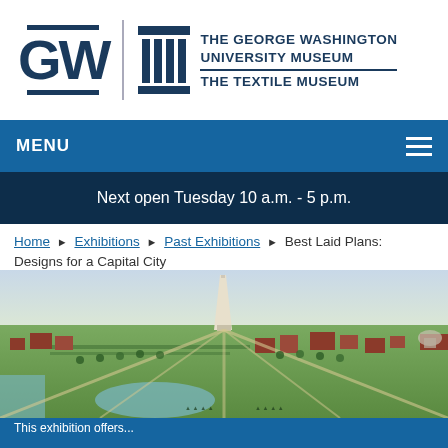[Figure (logo): GW and The George Washington University Museum / The Textile Museum combined logo in navy blue]
MENU
Next open Tuesday 10 a.m. - 5 p.m.
Home ▶ Exhibitions ▶ Past Exhibitions ▶ Best Laid Plans: Designs for a Capital City
[Figure (illustration): Aerial panoramic illustration of Washington D.C. with the Washington Monument at center, surrounded by green parks, red brick buildings, and the Potomac River]
This exhibition offers...